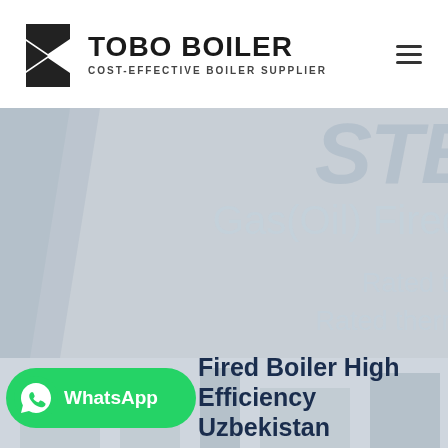TOBO BOILER — COST-EFFECTIVE BOILER SUPPLIER
[Figure (screenshot): Hero banner showing a boiler facility background with large partially visible text: 'STE', 'Gas(Oil) Fired', 'Rated th', 'Rated therm' overlaid on a light gray industrial background]
[Figure (logo): WhatsApp button in green with phone icon and 'WhatsApp' label]
Fired Boiler High Efficiency Uzbekistan